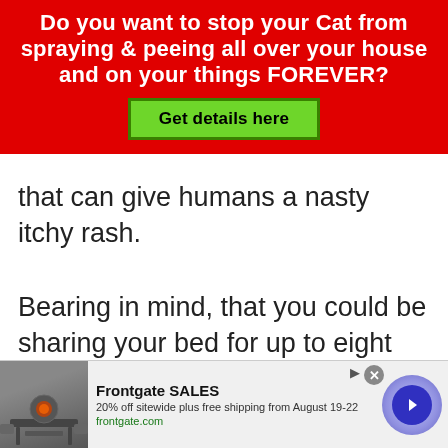[Figure (infographic): Red banner advertisement asking 'Do you want to stop your Cat from spraying & peeing all over your house and on your things FOREVER?' with a green 'Get details here' button]
that can give humans a nasty itchy rash.
Bearing in mind, that you could be sharing your bed for up to eight hours with your cat, this might seem less attractive, knowing what you now know!
[Figure (infographic): Frontgate SALES advertisement: '20% off sitewide plus free shipping from August 19-22. frontgate.com' with furniture image and navigation arrow button]